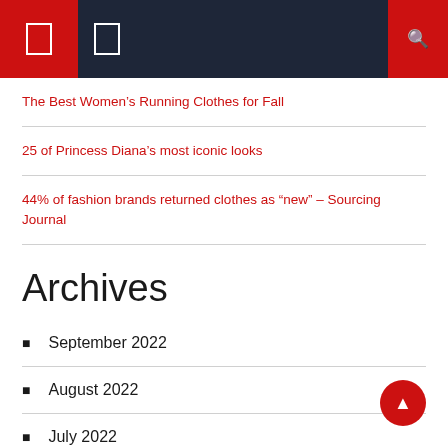Navigation header with menu icons and search
The Best Women's Running Clothes for Fall
25 of Princess Diana's most iconic looks
44% of fashion brands returned clothes as "new" – Sourcing Journal
Archives
September 2022
August 2022
July 2022
June 2022